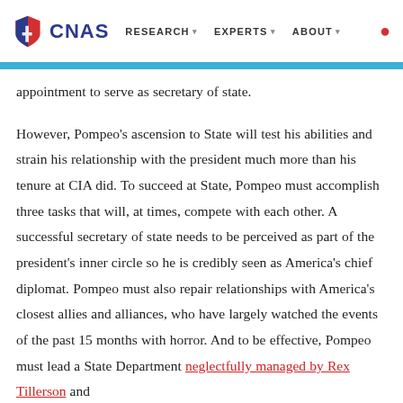CNAS | RESEARCH | EXPERTS | ABOUT
appointment to serve as secretary of state.
However, Pompeo's ascension to State will test his abilities and strain his relationship with the president much more than his tenure at CIA did. To succeed at State, Pompeo must accomplish three tasks that will, at times, compete with each other. A successful secretary of state needs to be perceived as part of the president's inner circle so he is credibly seen as America's chief diplomat. Pompeo must also repair relationships with America's closest allies and alliances, who have largely watched the events of the past 15 months with horror. And to be effective, Pompeo must lead a State Department neglectfully managed by Rex Tillerson and